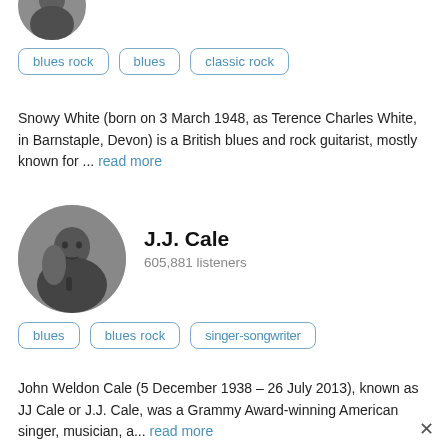[Figure (photo): Partial circular photo of Snowy White at top of page, cropped]
blues rock
blues
classic rock
Snowy White (born on 3 March 1948, as Terence Charles White, in Barnstaple, Devon) is a British blues and rock guitarist, mostly known for ... read more
[Figure (photo): Black and white circular portrait photo of J.J. Cale]
J.J. Cale
605,881 listeners
blues
blues rock
singer-songwriter
John Weldon Cale (5 December 1938 – 26 July 2013), known as JJ Cale or J.J. Cale, was a Grammy Award-winning American singer, musician, a... read more